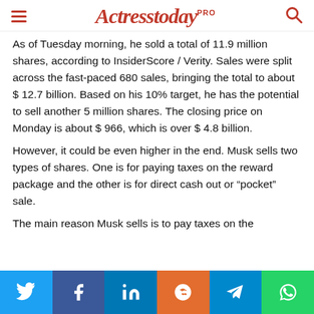Actresstoday PRO
As of Tuesday morning, he sold a total of 11.9 million shares, according to InsiderScore / Verity. Sales were split across the fast-paced 680 sales, bringing the total to about $ 12.7 billion. Based on his 10% target, he has the potential to sell another 5 million shares. The closing price on Monday is about $ 966, which is over $ 4.8 billion.
However, it could be even higher in the end. Musk sells two types of shares. One is for paying taxes on the reward package and the other is for direct cash out or “pocket” sale.
The main reason Musk sells is to pay taxes on the